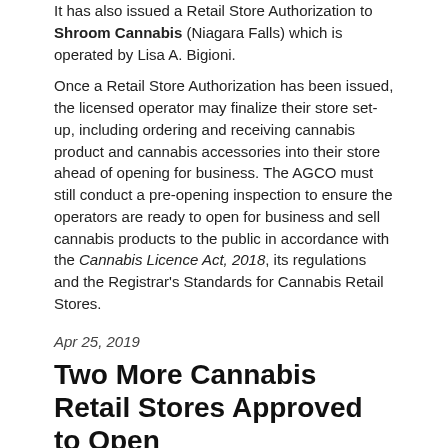It has also issued a Retail Store Authorization to Shroom Cannabis (Niagara Falls) which is operated by Lisa A. Bigioni.
Once a Retail Store Authorization has been issued, the licensed operator may finalize their store set-up, including ordering and receiving cannabis product and cannabis accessories into their store ahead of opening for business. The AGCO must still conduct a pre-opening inspection to ensure the operators are ready to open for business and sell cannabis products to the public in accordance with the Cannabis Licence Act, 2018, its regulations and the Registrar's Standards for Cannabis Retail Stores.
Apr 25, 2019
Two More Cannabis Retail Stores Approved to Open
The AGCO has completed its pre-opening inspection and has approved the following cannabis retail stores to open. The operators will determine their own opening day and operating hours as permitted in the Regulation.
| Store Name | City |
| --- | --- |